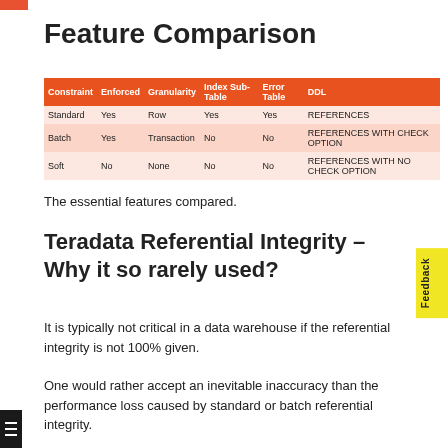Feature Comparison
| Constraint | Enforced | Granularity | Index Sub-Table | Error Table | DDL |
| --- | --- | --- | --- | --- | --- |
| Standard | Yes | Row | Yes | Yes | REFERENCES |
| Batch | Yes | Transaction | No | No | REFERENCES WITH CHECK OPTION |
| Soft | No | None | No | No | REFERENCES WITH NO CHECK OPTION |
The essential features compared.
Teradata Referential Integrity – Why it so rarely used?
It is typically not critical in a data warehouse if the referential integrity is not 100% given.
One would rather accept an inevitable inaccuracy than the performance loss caused by standard or batch referential integrity.